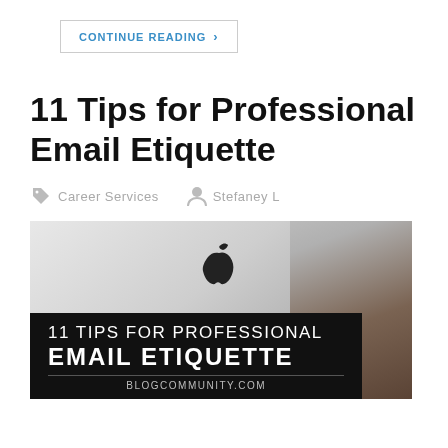CONTINUE READING >
11 Tips for Professional Email Etiquette
Career Services   Stefaney L
[Figure (photo): Apple laptop with overlay text reading '11 TIPS FOR PROFESSIONAL EMAIL ETIQUETTE' and 'BLOGCOMMUNITY.COM' on a dark background banner]